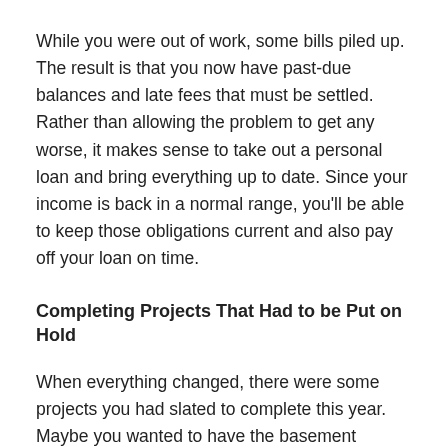While you were out of work, some bills piled up. The result is that you now have past-due balances and late fees that must be settled. Rather than allowing the problem to get any worse, it makes sense to take out a personal loan and bring everything up to date. Since your income is back in a normal range, you'll be able to keep those obligations current and also pay off your loan on time.
Completing Projects That Had to be Put on Hold
When everything changed, there were some projects you had slated to complete this year. Maybe you wanted to have the basement finished or felt it was time to update some of the kitchen appliances. All those plans had to be put off while you figured out how to live with what was